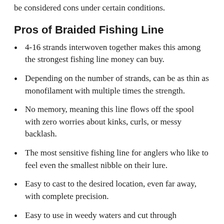be considered cons under certain conditions.
Pros of Braided Fishing Line
4-16 strands interwoven together makes this among the strongest fishing line money can buy.
Depending on the number of strands, can be as thin as monofilament with multiple times the strength.
No memory, meaning this line flows off the spool with zero worries about kinks, curls, or messy backlash.
The most sensitive fishing line for anglers who like to feel even the smallest nibble on their lure.
Easy to cast to the desired location, even far away, with complete precision.
Easy to use in weedy waters and cut through troublesome vegetation that other lines would get